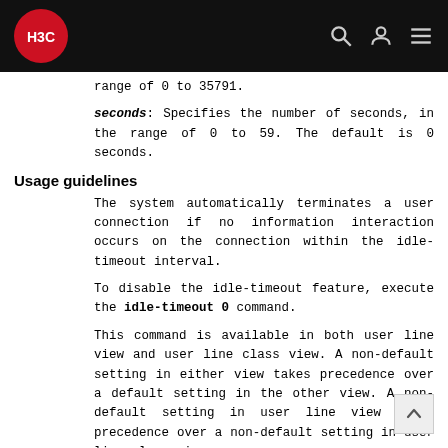H3C
range of 0 to 35791.
seconds: Specifies the number of seconds, in the range of 0 to 59. The default is 0 seconds.
Usage guidelines
The system automatically terminates a user connection if no information interaction occurs on the connection within the idle-timeout interval.
To disable the idle-timeout feature, execute the idle-timeout 0 command.
This command is available in both user line view and user line class view. A non-default setting in either view takes precedence over a default setting in the other view. A non-default setting in user line view takes precedence over a non-default setting in user line class view.